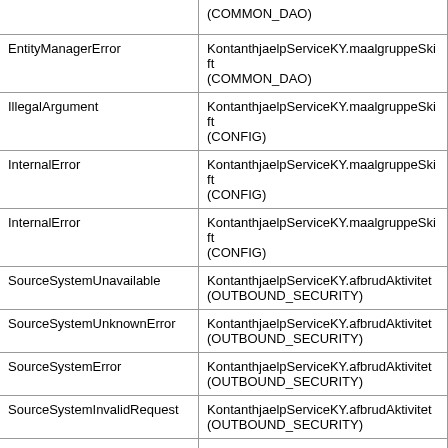| Error type | Operation |
| --- | --- |
|  | (COMMON_DAO) |
| EntityManagerError | KontanthjaelpServiceKY.maalgruppeSkift
(COMMON_DAO) |
| IllegalArgument | KontanthjaelpServiceKY.maalgruppeSkift
(CONFIG) |
| InternalError | KontanthjaelpServiceKY.maalgruppeSkift
(CONFIG) |
| InternalError | KontanthjaelpServiceKY.maalgruppeSkift
(CONFIG) |
| SourceSystemUnavailable | KontanthjaelpServiceKY.afbrudAktivitet
(OUTBOUND_SECURITY) |
| SourceSystemUnknownError | KontanthjaelpServiceKY.afbrudAktivitet
(OUTBOUND_SECURITY) |
| SourceSystemError | KontanthjaelpServiceKY.afbrudAktivitet
(OUTBOUND_SECURITY) |
| SourceSystemInvalidRequest | KontanthjaelpServiceKY.afbrudAktivitet
(OUTBOUND_SECURITY) |
| InternalError | KontanthjaelpServiceKY.afbrudAktivitet
(OUTBOUND_SECURITY) |